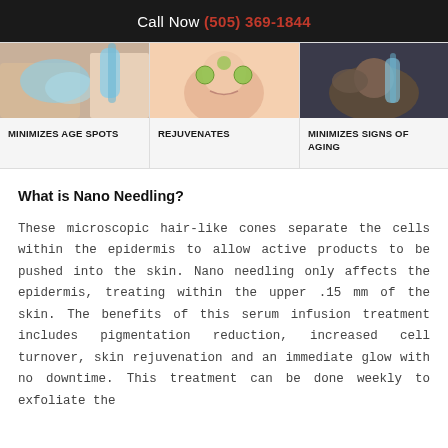Call Now (505) 369-1844
[Figure (photo): Close-up photo of gloved hands performing a skin treatment injection]
MINIMIZES AGE SPOTS
[Figure (photo): Woman smiling with cucumber slices over her eyes, face mask treatment]
REJUVENATES
[Figure (photo): Man receiving a facial skin treatment while lying down]
MINIMIZES SIGNS OF AGING
What is Nano Needling?
These microscopic hair-like cones separate the cells within the epidermis to allow active products to be pushed into the skin. Nano needling only affects the epidermis, treating within the upper .15 mm of the skin. The benefits of this serum infusion treatment includes pigmentation reduction, increased cell turnover, skin rejuvenation and an immediate glow with no downtime. This treatment can be done weekly to exfoliate the